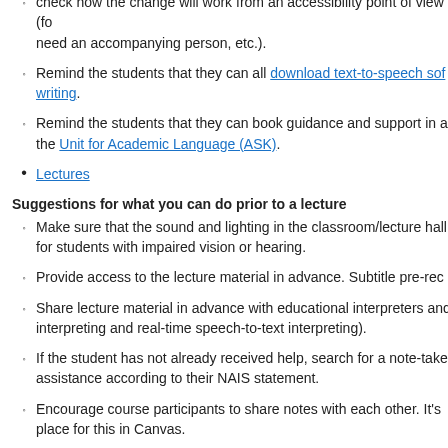Avoid timetable changes and late changes to teaching premises. Make sure to check how the change will work from an accessibility point of view (for example, need an accompanying person, etc.).
Remind the students that they can all download text-to-speech software for writing.
Remind the students that they can book guidance and support in academic writing at the Unit for Academic Language (ASK).
Lectures
Suggestions for what you can do prior to a lecture
Make sure that the sound and lighting in the classroom/lecture hall are adequate for students with impaired vision or hearing.
Provide access to the lecture material in advance. Subtitle pre-recorded videos.
Share lecture material in advance with educational interpreters and interpreters (sign interpreting and real-time speech-to-text interpreting).
If the student has not already received help, search for a note-taker or dictation assistance according to their NAIS statement.
Encourage course participants to share notes with each other. It's easy to set up a place for this in Canvas.